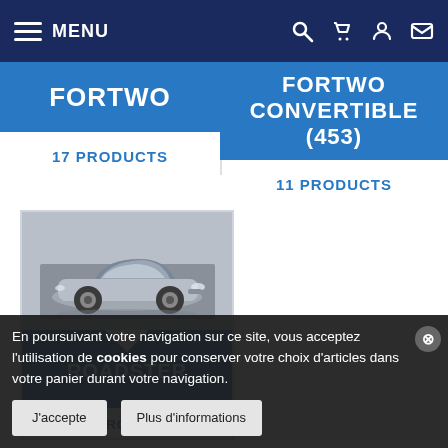MENU
FORTWO
17 PRODUCTS
FORTWO CONVERTIBLE (453)
11 PRODUCTS
[Figure (photo): Silver Smart Roadster car photographed outdoors against a grey/stone background]
ROADSTER
16 PRODUCTS
En poursuivant votre navigation sur ce site, vous acceptez l'utilisation de cookies pour conserver votre choix d'articles dans votre panier durant votre navigation.
J'accepte
Plus d'informations